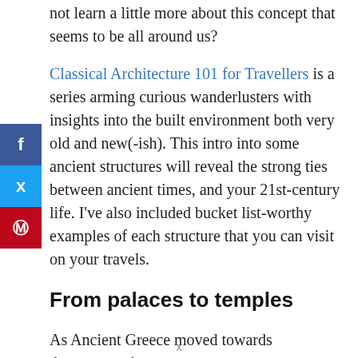not learn a little more about this concept that seems to be all around us?
Classical Architecture 101 for Travellers is a series arming curious wanderlusters with insights into the built environment both very old and new(-ish). This intro into some ancient structures will reveal the strong ties between ancient times, and your 21st-century life. I've also included bucket list-worthy examples of each structure that you can visit on your travels.
From palaces to temples
As Ancient Greece moved towards democracy, there was
x